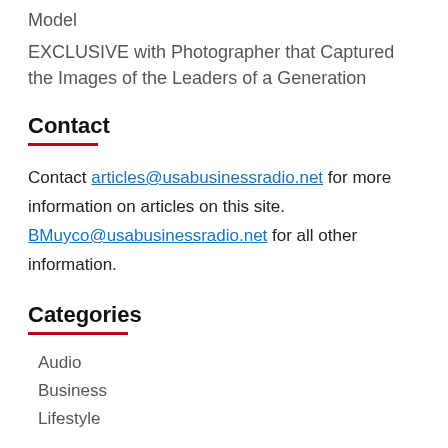Model
EXCLUSIVE with Photographer that Captured the Images of the Leaders of a Generation
Contact
Contact articles@usabusinessradio.net for more information on articles on this site.
BMuyco@usabusinessradio.net for all other information.
Categories
Audio
Business
Lifestyle